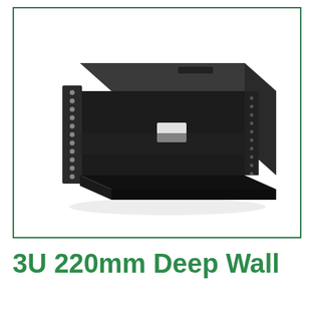[Figure (photo): A 3U 220mm deep wall box rackmount enclosure, black metal, shown in perspective view with rack ears on left and right sides, open front, and a ventilation slot visible on top.]
3U 220mm Deep Wall Box